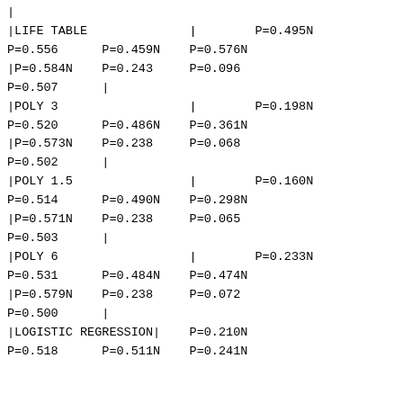|
|LIFE TABLE              |        P=0.495N
P=0.556      P=0.459N    P=0.576N
|P=0.584N    P=0.243     P=0.096
P=0.507      |
|POLY 3                  |        P=0.198N
P=0.520      P=0.486N    P=0.361N
|P=0.573N    P=0.238     P=0.068
P=0.502      |
|POLY 1.5                |        P=0.160N
P=0.514      P=0.490N    P=0.298N
|P=0.571N    P=0.238     P=0.065
P=0.503      |
|POLY 6                  |        P=0.233N
P=0.531      P=0.484N    P=0.474N
|P=0.579N    P=0.238     P=0.072
P=0.500      |
|LOGISTIC REGRESSION|    P=0.210N
P=0.518      P=0.511N    P=0.241N